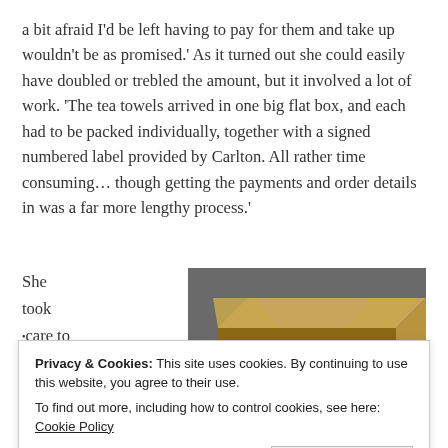a bit afraid I'd be left having to pay for them and take up wouldn't be as promised.' As it turned out she could easily have doubled or trebled the amount, but it involved a lot of work. 'The tea towels arrived in one big flat box, and each had to be packed individually, together with a signed numbered label provided by Carlton. All rather time consuming… though getting the payments and order details in was a far more lengthy process.'
She took •care to
[Figure (photo): A cardboard box open from the top, containing stacked tea towels with red and white striped patterns, viewed from above at an angle.]
Privacy & Cookies: This site uses cookies. By continuing to use this website, you agree to their use. To find out more, including how to control cookies, see here: Cookie Policy
Close and accept